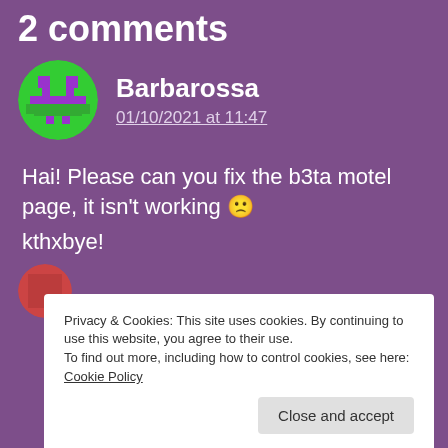2 comments
Barbarossa
01/10/2021 at 11:47
Hai! Please can you fix the b3ta motel page, it isn't working 🙁

kthxbye!
Privacy & Cookies: This site uses cookies. By continuing to use this website, you agree to their use.
To find out more, including how to control cookies, see here: Cookie Policy